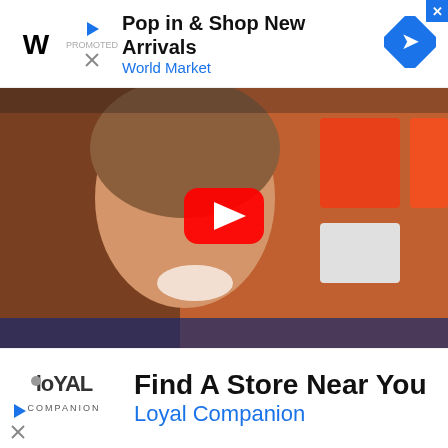[Figure (screenshot): Top banner advertisement for World Market: 'Pop in & Shop New Arrivals' with World Market branding, play and close icons, and a blue diamond arrow logo on the right.]
[Figure (photo): Video thumbnail of a smiling woman with a YouTube play button overlay, photographed in front of a red and orange branded background.]
[Figure (screenshot): Bottom banner advertisement for Loyal Companion: 'Find A Store Near You' with Loyal Companion branding and logo on the left, play and close ad icons at the bottom.]